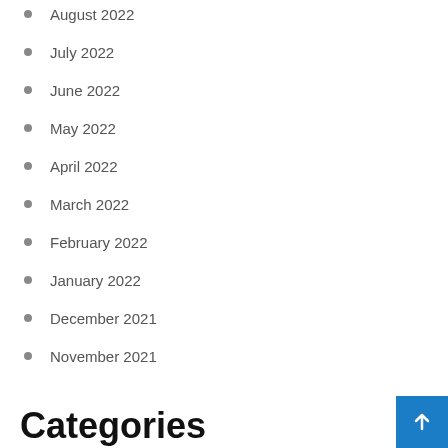August 2022
July 2022
June 2022
May 2022
April 2022
March 2022
February 2022
January 2022
December 2021
November 2021
Categories
Apk
Audio notes
Backing F…